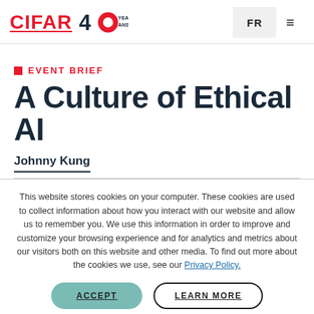CIFAR 40 YEARS ANS | FR
EVENT BRIEF
A Culture of Ethical AI
Johnny Kung
This website stores cookies on your computer. These cookies are used to collect information about how you interact with our website and allow us to remember you. We use this information in order to improve and customize your browsing experience and for analytics and metrics about our visitors both on this website and other media. To find out more about the cookies we use, see our Privacy Policy.
ACCEPT | LEARN MORE